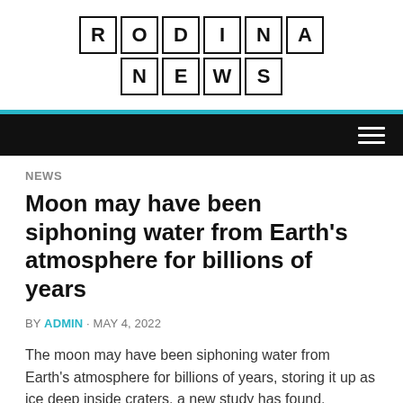[Figure (logo): RODINA NEWS logo made of individual letter tiles in boxes, arranged in two rows: R O D I N A on top, N E W S on bottom]
NEWS
Moon may have been siphoning water from Earth's atmosphere for billions of years
BY ADMIN · MAY 4, 2022
The moon may have been siphoning water from Earth's atmosphere for billions of years, storing it up as ice deep inside craters, a new study has found.
Research by the University of Alaska Fairbanks suggests that ions